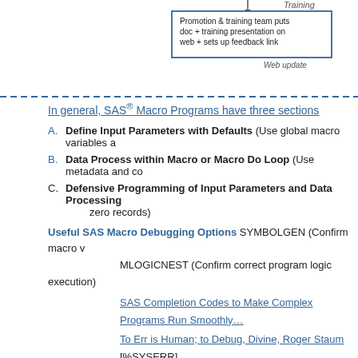[Figure (flowchart): Partial flowchart showing 'Training' label and a box: 'Promotion & training team puts doc + training presentation on web + sets up feedback link' with 'Web update' label below]
In general, SAS® Macro Programs have three sections
A. Define Input Parameters with Defaults (Use global macro variables a…
B. Data Process within Macro or Macro Do Loop (Use metadata and co…
C. Defensive Programming of Input Parameters and Data Processing… zero records)
Useful SAS Macro Debugging Options SYMBOLGEN (Confirm macro v… MLOGICNEST (Confirm correct program logic execution)
SAS Completion Codes to Make Complex Programs Run Smoothly…
To Err is Human; to Debug, Divine, Roger Staum [%SYSERR]
SAS® Guide SAS Macro Examples
SAS® Blog The SAS Training Post - Macro Q Functions, Author Tip, Env…
sasCommunity.org Best Practices